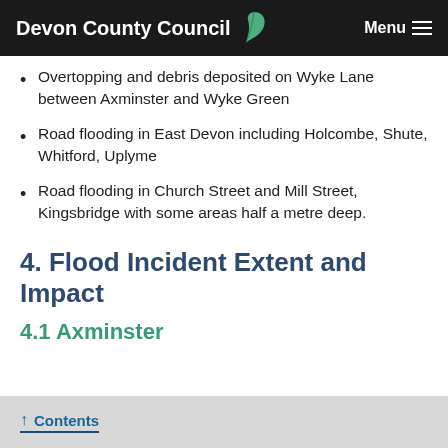Devon County Council  Menu
Overtopping and debris deposited on Wyke Lane between Axminster and Wyke Green
Road flooding in East Devon including Holcombe, Shute, Whitford, Uplyme
Road flooding in Church Street and Mill Street, Kingsbridge with some areas half a metre deep.
4. Flood Incident Extent and Impact
4.1 Axminster
↑ Contents